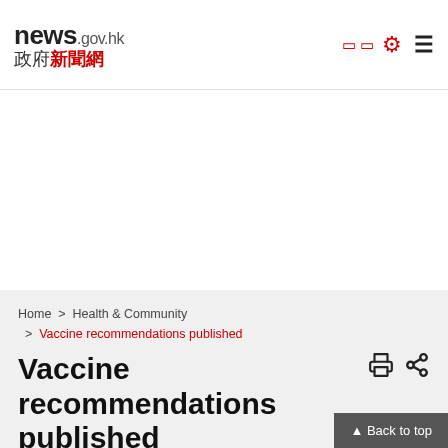news.gov.hk 政府新聞網
Home > Health & Community > Vaccine recommendations published
Vaccine recommendations published
March 18, 2021
The two scientific committees under the Centre for H... convened a meeting today to provide recommendati...